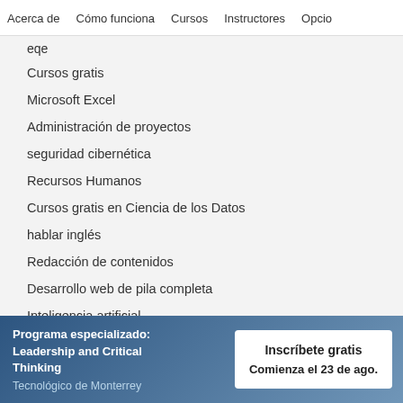Acerca de   Cómo funciona   Cursos   Instructores   Opcio
eqe
Cursos gratis
Microsoft Excel
Administración de proyectos
seguridad cibernética
Recursos Humanos
Cursos gratis en Ciencia de los Datos
hablar inglés
Redacción de contenidos
Desarrollo web de pila completa
Inteligencia artificial
Programa especializado: Leadership and Critical Thinking
Tecnológico de Monterrey
Inscríbete gratis
Comienza el 23 de ago.